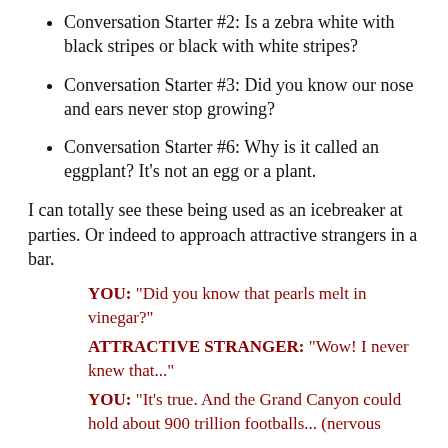Conversation Starter #2: Is a zebra white with black stripes or black with white stripes?
Conversation Starter #3: Did you know our nose and ears never stop growing?
Conversation Starter #6: Why is it called an eggplant? It's not an egg or a plant.
I can totally see these being used as an icebreaker at parties. Or indeed to approach attractive strangers in a bar.
YOU: "Did you know that pearls melt in vinegar?"
ATTRACTIVE STRANGER: "Wow! I never knew that..."
YOU: "It's true. And the Grand Canyon could hold about 900 trillion footballs... (nervous